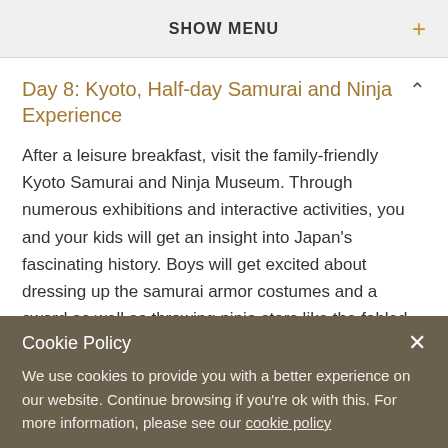SHOW MENU
Day 8: Kyoto, Half-day Samurai and Ninja Experience
After a leisure breakfast, visit the family-friendly Kyoto Samurai and Ninja Museum. Through numerous exhibitions and interactive activities, you and your kids will get an insight into Japan's fascinating history. Boys will get excited about dressing up the samurai armor costumes and a sword as well as throwing ninja stars like the fabled ninja in ancient Japan.
Cookie Policy
We use cookies to provide you with a better experience on our website. Continue browsing if you're ok with this. For more information, please see our cookie policy